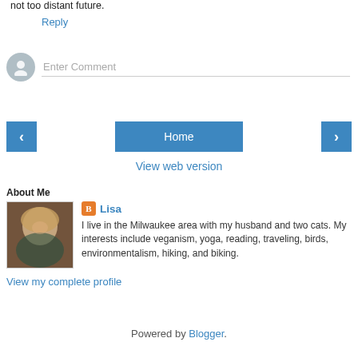not too distant future.
Reply
Enter Comment
‹
Home
›
View web version
About Me
[Figure (photo): Profile photo of Lisa, a woman with long blonde hair, smiling]
Lisa
I live in the Milwaukee area with my husband and two cats. My interests include veganism, yoga, reading, traveling, birds, environmentalism, hiking, and biking.
View my complete profile
Powered by Blogger.